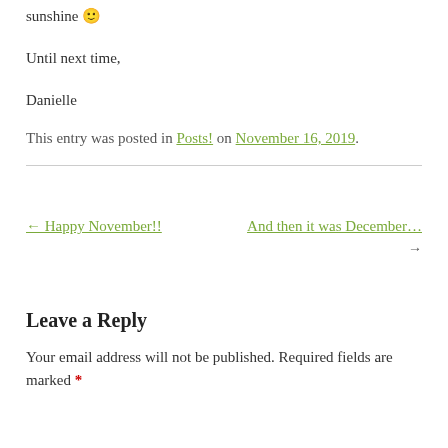sunshine 🙂
Until next time,
Danielle
This entry was posted in Posts! on November 16, 2019.
← Happy November!!
And then it was December… →
Leave a Reply
Your email address will not be published. Required fields are marked *